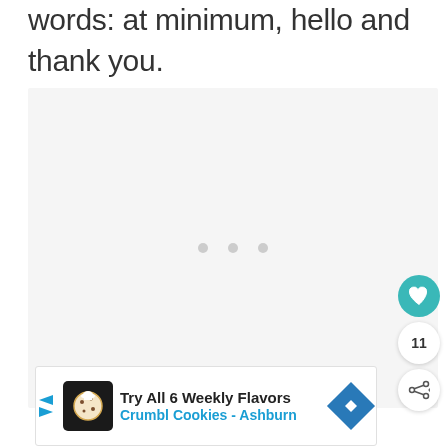words: at minimum, hello and thank you.
[Figure (other): Gray placeholder image area with three centered dots, indicating a loading or empty image block]
[Figure (other): Web UI overlay: heart/like button (teal circle, count 11), share button (white circle with share icon)]
[Figure (other): Advertisement banner: Try All 6 Weekly Flavors - Crumbl Cookies Ashburn, with cookie logo and navigation arrow icon]